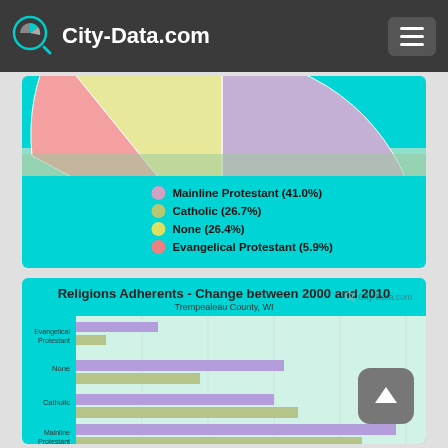City-Data.com
[Figure (pie-chart): ]
Mainline Protestant (41.0%)
Catholic (26.7%)
None (26.4%)
Evangelical Protestant (5.9%)
Religions Adherents - Change between 2000 and 2010
Trempealeau County, WI
[Figure (bar-chart): Religions Adherents - Change between 2000 and 2010]